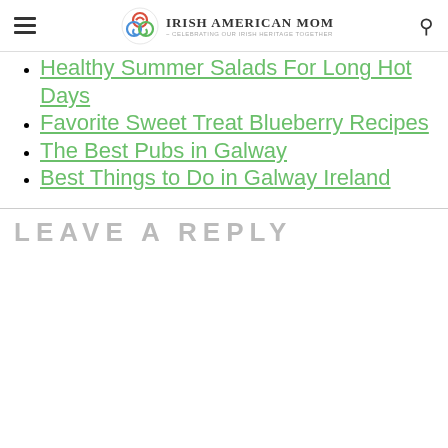Irish American Mom - Celebrating Our Irish Heritage Together
Healthy Summer Salads For Long Hot Days
Favorite Sweet Treat Blueberry Recipes
The Best Pubs in Galway
Best Things to Do in Galway Ireland
LEAVE A REPLY